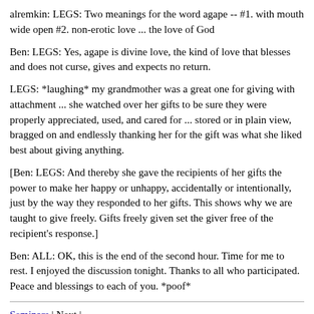alremkin: LEGS: Two meanings for the word agape -- #1. with mouth wide open #2. non-erotic love ... the love of God
Ben: LEGS: Yes, agape is divine love, the kind of love that blesses and does not curse, gives and expects no return.
LEGS: *laughing* my grandmother was a great one for giving with attachment ... she watched over her gifts to be sure they were properly appreciated, used, and cared for ... stored or in plain view, bragged on and endlessly thanking her for the gift was what she liked best about giving anything.
[Ben: LEGS: And thereby she gave the recipients of her gifts the power to make her happy or unhappy, accidentally or intentionally,  just by the way they responded to her gifts. This shows why we are taught to give freely. Gifts freely given set the giver free of the recipient's response.]
Ben: ALL: OK, this is the end of the second hour. Time for me to rest. I enjoyed the discussion tonight. Thanks to all who participated. Peace and blessings to each of you. *poof*
Seminars | Next |